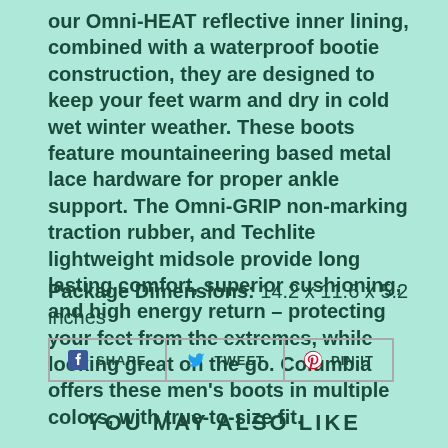our Omni-HEAT reflective inner lining, combined with a waterproof bootie construction, they are designed to keep your feet warm and dry in cold wet winter weather. These boots feature mountaineering based metal lace hardware for proper ankle support. The Omni-GRIP non-marking traction rubber, and Techlite lightweight midsole provide long lasting comfort, superior cushioning, and high energy return – protecting your feet from the extremes, while looking great on the go. Columbia offers these men's boots in multiple colors, with true-to-size fit.
Package Dimensions: 14.2 x 11.6 x 5.2 inches
[Figure (other): Social sharing buttons: Facebook Share, Twitter Tweet, Pinterest Pin It]
YOU MAY ALSO LIKE